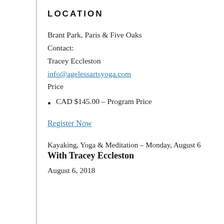LOCATION
Brant Park, Paris & Five Oaks
Contact:
Tracey Eccleston
info@agelessartsyoga.com
Price
CAD $145.00 – Program Price
Register Now
Kayaking, Yoga & Meditation – Monday, August 6
With Tracey Eccleston
August 6, 2018